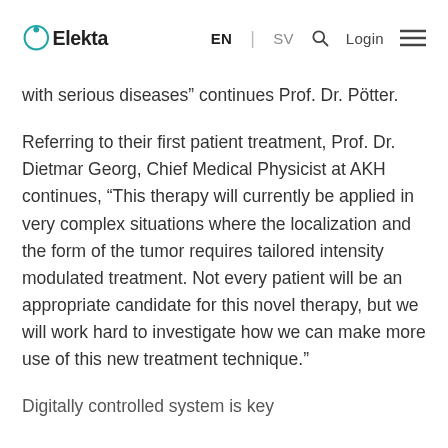Elekta | EN | SV | Login
with serious diseases” continues Prof. Dr. Pötter.
Referring to their first patient treatment, Prof. Dr. Dietmar Georg, Chief Medical Physicist at AKH continues, “This therapy will currently be applied in very complex situations where the localization and the form of the tumor requires tailored intensity modulated treatment. Not every patient will be an appropriate candidate for this novel therapy, but we will work hard to investigate how we can make more use of this new treatment technique.”
Digitally controlled system is key